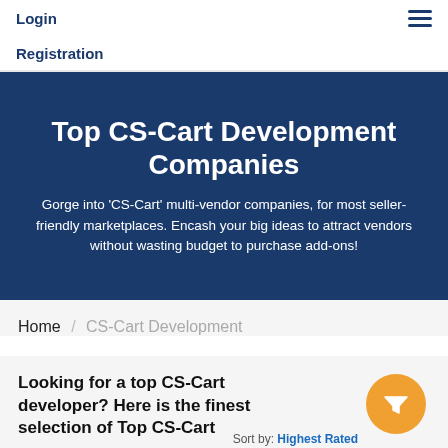Login   Registration
Top CS-Cart Development Companies
Gorge into 'CS-Cart' multi-vendor companies, for most seller-friendly marketplaces. Encash your big ideas to attract vendors without wasting budget to purchase add-ons!
Home / CS-Cart Development
Looking for a top CS-Cart developer? Here is the finest selection of Top CS-Cart
Sort by: Highest Rated